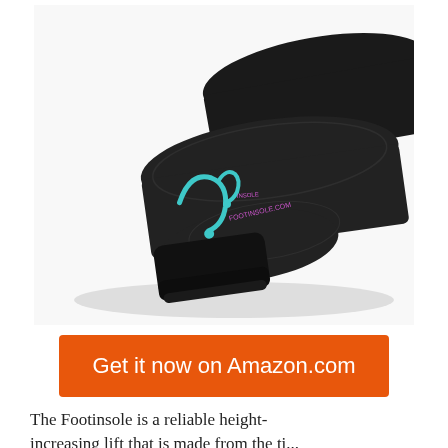[Figure (photo): Two black shoe insoles (footinsoles/height-increasing insoles) stacked at an angle, showing teal/blue logo design and layered heel construction on a white background.]
Get it now on Amazon.com
The Footinsole is a reliable height-increasing lift that is made from the ti...